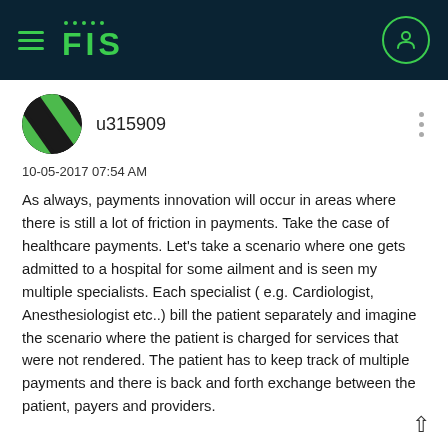FIS
[Figure (logo): FIS company logo with hamburger menu icon on dark navy background, green FIS text and dots, circular user profile icon on the right]
[Figure (illustration): Circular avatar with green and black diagonal stripes]
u315909
10-05-2017 07:54 AM
As always, payments innovation will occur in areas where there is still a lot of friction in payments. Take the case of healthcare payments. Let's take a scenario where one gets admitted to a hospital for some ailment and is seen my multiple specialists. Each specialist ( e.g. Cardiologist, Anesthesiologist etc..) bill the patient separately and imagine the scenario where the patient is charged for services that were not rendered. The patient has to keep track of multiple payments and there is back and forth exchange between the patient, payers and providers.